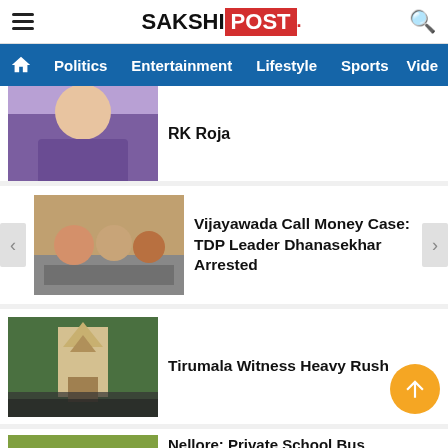SAKSHI POST
Politics | Entertainment | Lifestyle | Sports | Video
RK Roja
Vijayawada Call Money Case: TDP Leader Dhanasekhar Arrested
Tirumala Witness Heavy Rush
Nellore: Private School Bus Overturns In Buchireddypalem, 3 Kids injured